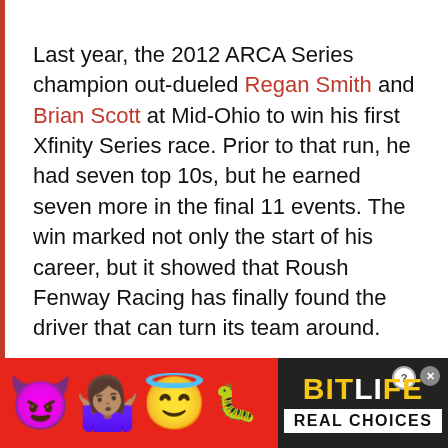Last year, the 2012 ARCA Series champion out-dueled Regan Smith and Brian Scott at Mid-Ohio to win his first Xfinity Series race. Prior to that run, he had seven top 10s, but he earned seven more in the final 11 events. The win marked not only the start of his career, but it showed that Roush Fenway Racing has finally found the driver that can turn its team around.

The gift that Ford needs comes at the perfect time after Edwards's departure for Joe Gibbs Racing, which was preceded by
[Figure (infographic): Advertisement banner for BitLife game featuring emoji characters (devil, woman, angel) and sperm emoji on a red background, with BitLife logo and REAL CHOICES text on a dark background.]